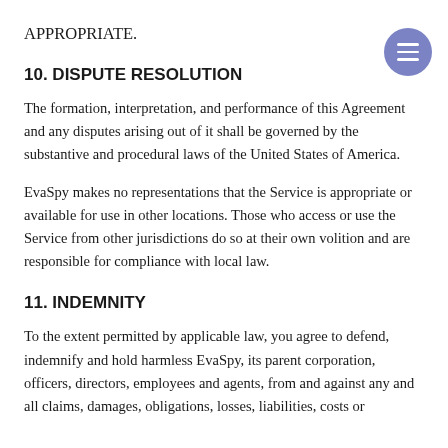APPROPRIATE.
10. DISPUTE RESOLUTION
The formation, interpretation, and performance of this Agreement and any disputes arising out of it shall be governed by the substantive and procedural laws of the United States of America.
EvaSpy makes no representations that the Service is appropriate or available for use in other locations. Those who access or use the Service from other jurisdictions do so at their own volition and are responsible for compliance with local law.
11. INDEMNITY
To the extent permitted by applicable law, you agree to defend, indemnify and hold harmless EvaSpy, its parent corporation, officers, directors, employees and agents, from and against any and all claims, damages, obligations, losses, liabilities, costs or